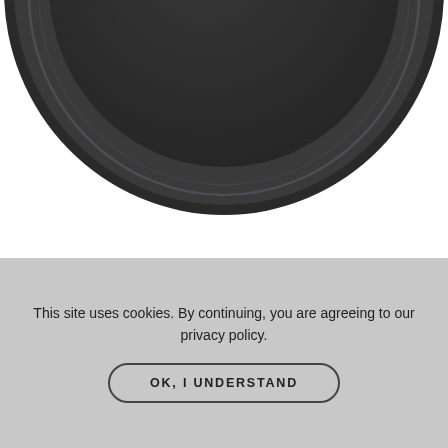[Figure (photo): Top view of a black matte circular plate/lens cap, partially cropped, showing concentric rings and matte dark surface on white background.]
BLACK MATTE
SBKM
[Figure (photo): Partial top view of a dark navy/black circular plate or lens cap, cropped at the bottom of the frame.]
This site uses cookies. By continuing, you are agreeing to our privacy policy.
OK, I UNDERSTAND